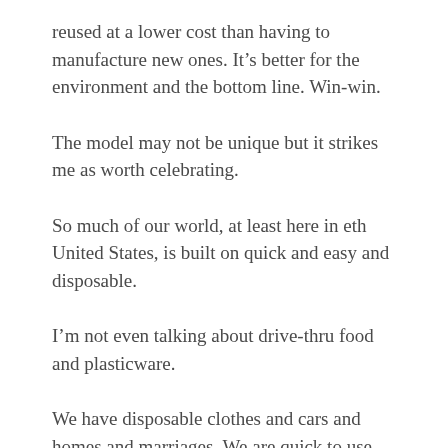reused at a lower cost than having to manufacture new ones. It's better for the environment and the bottom line. Win-win.
The model may not be unique but it strikes me as worth celebrating.
So much of our world, at least here in eth United States, is built on quick and easy and disposable.
I'm not even talking about drive-thru food and plasticware.
We have disposable clothes and cars and homes and marriages. We are quick to use something until we grow bored or until it falls apart because it was never meant to last, and throwing it away. We don't